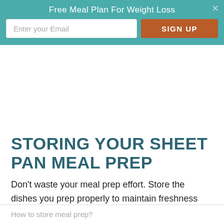Free Meal Plan For Weight Loss
STORING YOUR SHEET PAN MEAL PREP
Don't waste your meal prep effort. Store the dishes you prep properly to maintain freshness and flavor.
How to store meal prep?